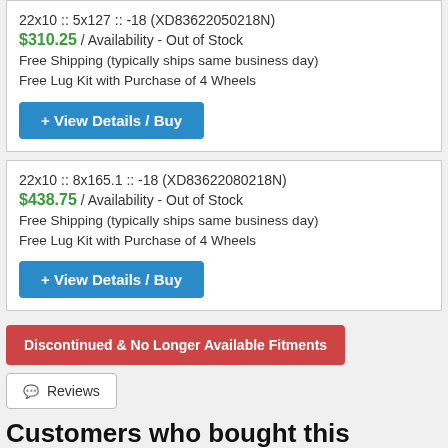22x10 :: 5x127 :: -18 (XD83622050218N)
$310.25 / Availability - Out of Stock
Free Shipping (typically ships same business day)
Free Lug Kit with Purchase of 4 Wheels
View Details / Buy
22x10 :: 8x165.1 :: -18 (XD83622080218N)
$438.75 / Availability - Out of Stock
Free Shipping (typically ships same business day)
Free Lug Kit with Purchase of 4 Wheels
View Details / Buy
Discontinued & No Longer Available Fitments
Reviews
Customers who bought this product also purchased
[Figure (other): Product image placeholder box]